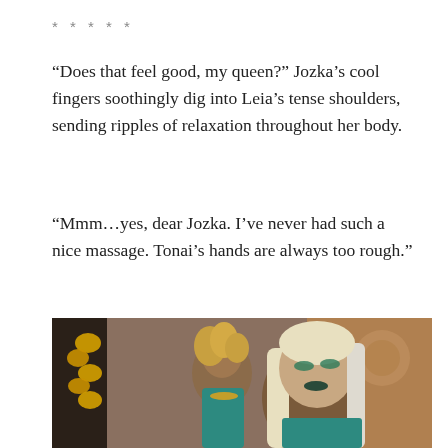* * * * *
“Does that feel good, my queen?” Jozka’s cool fingers soothingly dig into Leia’s tense shoulders, sending ripples of relaxation throughout her body.
“Mmm…yes, dear Jozka. I’ve never had such a nice massage. Tonai’s hands are always too rough.”
[Figure (photo): Screenshot from The Sims showing two female characters, one with curly blonde hair wearing a teal outfit with a gold necklace appearing to massage the other character who has long straight platinum blonde hair, green eyeshadow, and dark lipstick, set in a decorative indoor environment.]